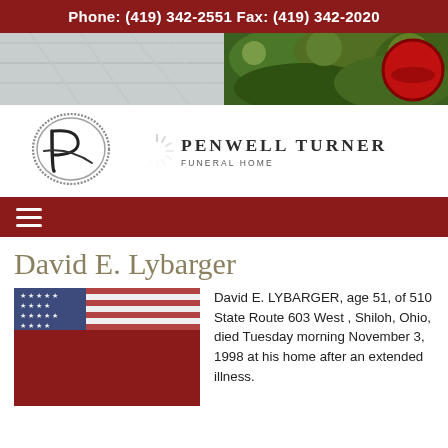Phone: (419) 342-2551 Fax: (419) 342-2020
[Figure (photo): Header photo strip with architectural and garden imagery]
[Figure (logo): Penwell Turner Funeral Home logo with stylized P monogram]
[Figure (other): Dark red navigation bar with hamburger menu icon]
David E. Lybarger
[Figure (photo): American flag photo on dark red background]
David E. LYBARGER, age 51, of 510 State Route 603 West , Shiloh, Ohio, died Tuesday morning November 3, 1998 at his home after an extended illness.